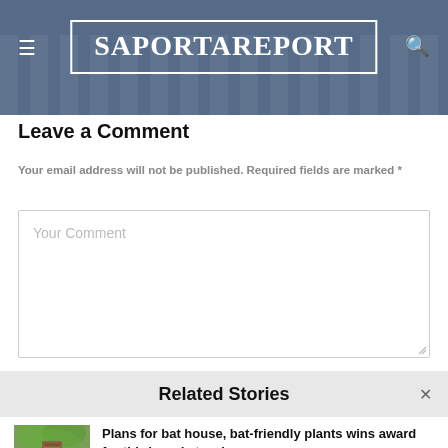[Figure (screenshot): SaportaReport website header with blue cityscape background, hamburger menu icon on left, search icon on right, and center logo in white bordered box reading SAPORTAREPORT]
Leave a Comment
Your email address will not be published. Required fields are marked *
[Figure (screenshot): Comment text area input box with placeholder text 'Your Comment']
Related Stories
[Figure (photo): Thumbnail photo of a bat house mounted in a tree]
Plans for bat house, bat-friendly plants wins award for third-grade teacher